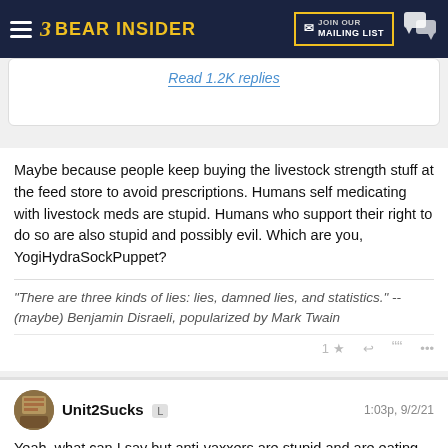Bear Insider — JOIN OUR MAILING LIST
Read 1.2K replies
Maybe because people keep buying the livestock strength stuff at the feed store to avoid prescriptions. Humans self medicating with livestock meds are stupid. Humans who support their right to do so are also stupid and possibly evil. Which are you, YogiHydraSockPuppet?
"There are three kinds of lies: lies, damned lies, and statistics." -- (maybe) Benjamin Disraeli, popularized by Mark Twain
Unit2Sucks  L    1:03p, 9/2/21
Yeah, what can I say but anti-vaxxers are stupid and are eating horse paste and then pooping their pants.
Don't take my word for it - do your own research.
I will give you a few places to start. Why has a US Senator from